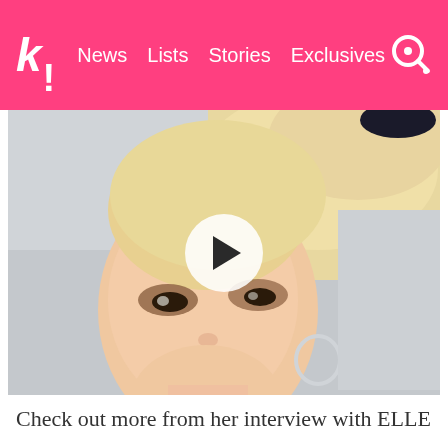k! News Lists Stories Exclusives
[Figure (photo): A young woman with blonde hair in a high ponytail, heavy eye makeup, and red lips wearing a dark jacket and gold necklace. A video play button overlay is centered on the image.]
Check out more from her interview with ELLE